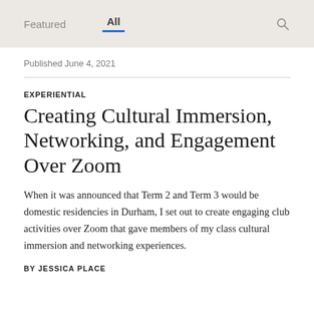Featured   All
Published June 4, 2021
EXPERIENTIAL
Creating Cultural Immersion, Networking, and Engagement Over Zoom
When it was announced that Term 2 and Term 3 would be domestic residencies in Durham, I set out to create engaging club activities over Zoom that gave members of my class cultural immersion and networking experiences.
BY JESSICA PLACE